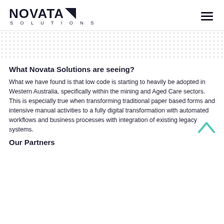NOVATA SOLUTIONS
What Novata Solutions are seeing?
What we have found is that low code is starting to heavily be adopted in Western Australia, specifically within the mining and Aged Care sectors. This is especially true when transforming traditional paper based forms and intensive manual activities to a fully digital transformation with automated workflows and business processes with integration of existing legacy systems.
Our Partners